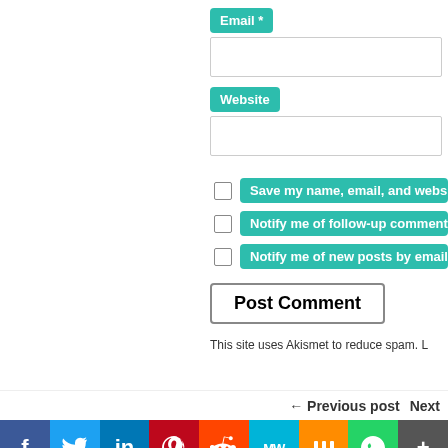Email *
Website
Save my name, email, and website
Notify me of follow-up comments by
Notify me of new posts by email.
Post Comment
This site uses Akismet to reduce spam. L
← Previous post   Next
[Figure (screenshot): Social media sharing bar with icons: Facebook, Twitter, LinkedIn, Pinterest, Reddit, MeWe, Mix, WhatsApp, More]